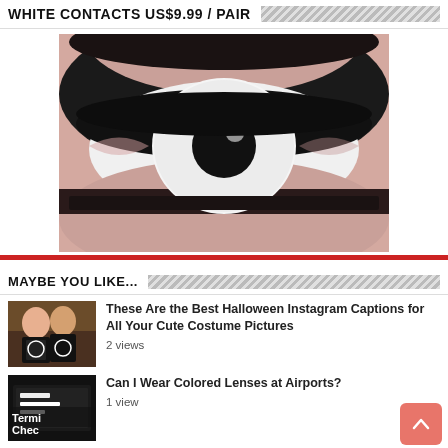WHITE CONTACTS US$9.99 / PAIR
[Figure (photo): Close-up photo of a human eye wearing a white contact lens with black pupil, with heavy black eye makeup/shadow]
MAYBE YOU LIKE...
[Figure (photo): Thumbnail of two people in Halloween skeleton costumes]
These Are the Best Halloween Instagram Captions for All Your Cute Costume Pictures
2 views
[Figure (photo): Thumbnail of airport terminal check-in signage]
Can I Wear Colored Lenses at Airports?
1 view